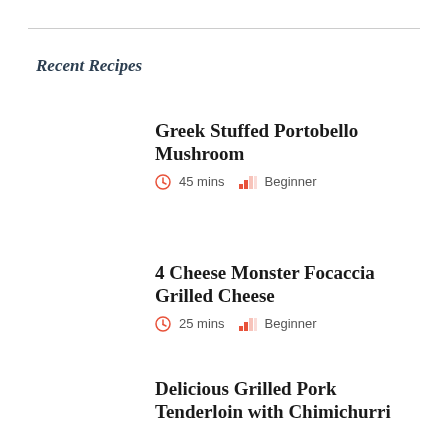Recent Recipes
Greek Stuffed Portobello Mushroom | 45 mins | Beginner
4 Cheese Monster Focaccia Grilled Cheese | 25 mins | Beginner
Delicious Grilled Pork Tenderloin with Chimichurri